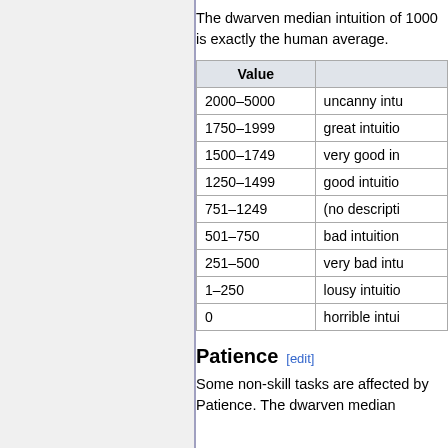The dwarven median intuition of 1000 is exactly the human average.
| Value |  |
| --- | --- |
| 2000–5000 | uncanny intu… |
| 1750–1999 | great intuitio… |
| 1500–1749 | very good in… |
| 1250–1499 | good intuitio… |
| 751–1249 | (no descripti… |
| 501–750 | bad intuition… |
| 251–500 | very bad intu… |
| 1–250 | lousy intuitio… |
| 0 | horrible intui… |
Patience [edit]
Some non-skill tasks are affected by Patience. The dwarven median